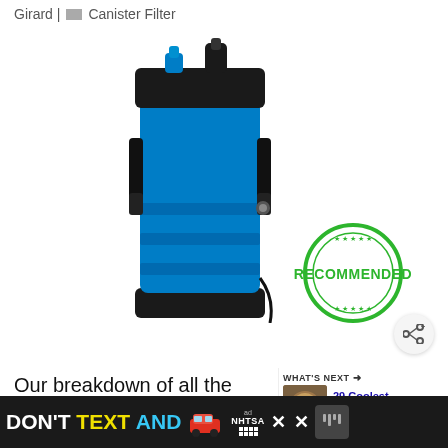Girard | Canister Filter
[Figure (photo): Blue and black canister aquarium filter (Cascade 1000) with a 'RECOMMENDED' green stamp overlay in bottom right]
Our breakdown of all the key features, as well as pros and cons, of the Cascade 1000...
[Figure (screenshot): WHAT'S NEXT overlay with thumbnail showing '29 Coolest Fish Specie...']
[Figure (infographic): Ad banner: DON'T TEXT AND [car emoji] with NHTSA logo and close buttons]